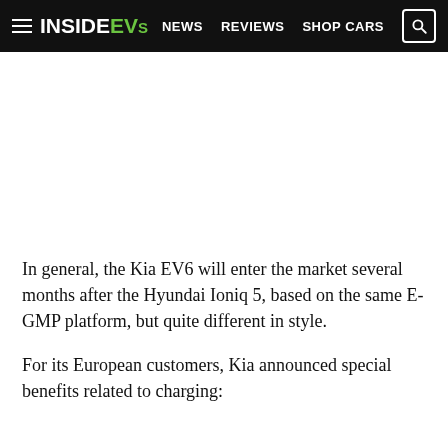InsideEVs | NEWS  REVIEWS  SHOP CARS
[Figure (other): Blank white image area placeholder]
In general, the Kia EV6 will enter the market several months after the Hyundai Ioniq 5, based on the same E-GMP platform, but quite different in style.
For its European customers, Kia announced special benefits related to charging: